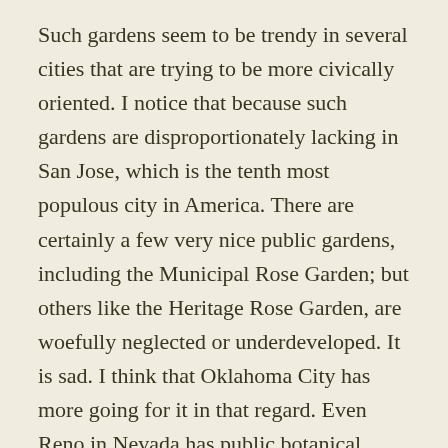Such gardens seem to be trendy in several cities that are trying to be more civically oriented. I notice that because such gardens are disproportionately lacking in San Jose, which is the tenth most populous city in America. There are certainly a few very nice public gardens, including the Municipal Rose Garden; but others like the Heritage Rose Garden, are woefully neglected or underdeveloped. It is sad. I think that Oklahoma City has more going for it in that regard. Even Reno in Nevada has public botanical gardens. It is after all the Biggest Little City in the World. I am confident that we will eventually get more of such